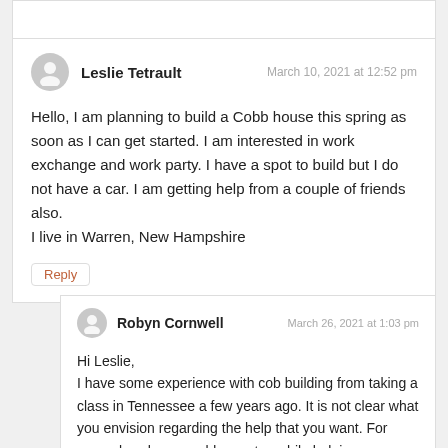Leslie Tetrault
March 10, 2021 at 12:52 pm
Hello, I am planning to build a Cobb house this spring as soon as I can get started. I am interested in work exchange and work party. I have a spot to build but I do not have a car. I am getting help from a couple of friends also.
I live in Warren, New Hampshire
Reply
Robyn Cornwell
March 26, 2021 at 1:03 pm
Hi Leslie,
I have some experience with cob building from taking a class in Tennessee a few years ago. It is not clear what you envision regarding the help that you want. For example, where would one stay while helping